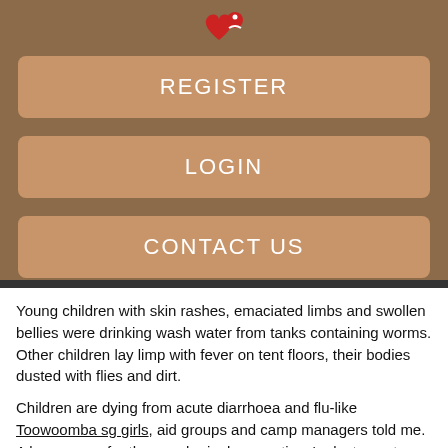[Figure (logo): Red heart icon with a small figure, app logo]
REGISTER
LOGIN
CONTACT US
Young children with skin rashes, emaciated limbs and swollen bellies were drinking wash water from tanks containing worms. Other children lay limp with fever on tent floors, their bodies dusted with flies and dirt.
Children are dying from acute diarrhoea and flu-like Toowoomba sg girls, aid groups and camp managers told me. A key reason for the squalor is donor nations' reluctance to assist potential Austgalia State members or sympathisers, camp managers and aid workers said.